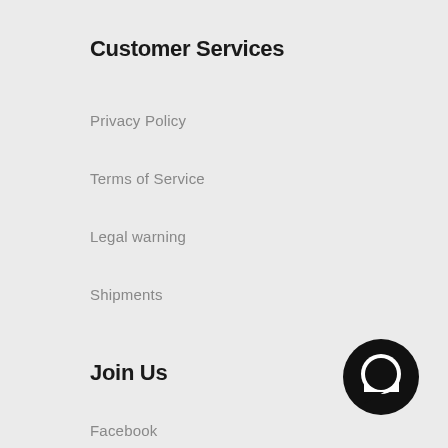Customer Services
Privacy Policy
Terms of Service
Legal warning
Shipments
Join Us
Facebook
Instagram
LinkedIn
[Figure (illustration): Chat bubble icon — black circle with white speech bubble cutout]